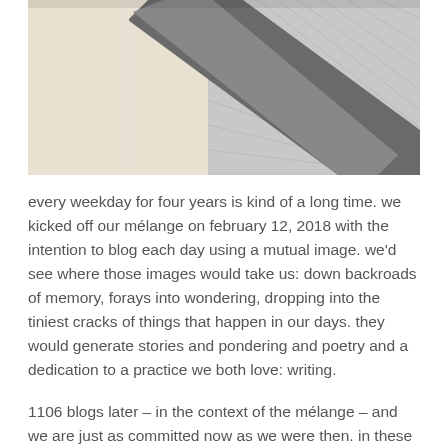[Figure (photo): Close-up photo of what appears to be a corner of a framed picture or screen, showing diagonal elements with a dark triangular shape against a light background with a textured grid pattern on the right side.]
every weekday for four years is kind of a long time. we kicked off our mélange on february 12, 2018 with the intention to blog each day using a mutual image. we'd see where those images would take us: down backroads of memory, forays into wondering, dropping into the tiniest cracks of things that happen in our days. they would generate stories and pondering and poetry and a dedication to a practice we both love: writing.
1106 blogs later – in the context of the mélange – and we are just as committed now as we were then. in these tens of hundreds of posts, we have been both succinct and verbose, grateful and snarky, questioning and certain. mostly we have sat next to each other – every single post